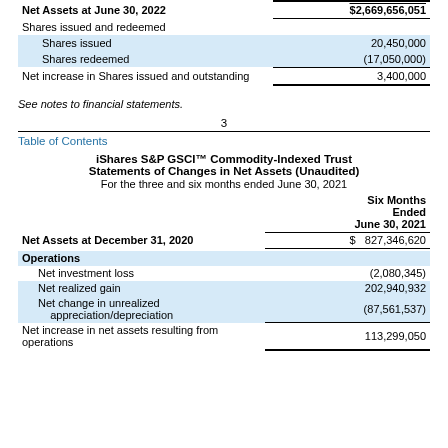|  |  |
| --- | --- |
| Net Assets at June 30, 2022 | $2,669,656,051 |
| Shares issued and redeemed |  |
| Shares issued | 20,450,000 |
| Shares redeemed | (17,050,000) |
| Net increase in Shares issued and outstanding | 3,400,000 |
See notes to financial statements.
3
Table of Contents
iShares S&P GSCI™ Commodity-Indexed Trust
Statements of Changes in Net Assets (Unaudited)
For the three and six months ended June 30, 2021
|  | Six Months Ended June 30, 2021 |
| --- | --- |
| Net Assets at December 31, 2020 | $ 827,346,620 |
| Operations |  |
| Net investment loss | (2,080,345) |
| Net realized gain | 202,940,932 |
| Net change in unrealized appreciation/depreciation | (87,561,537) |
| Net increase in net assets resulting from operations | 113,299,050 |